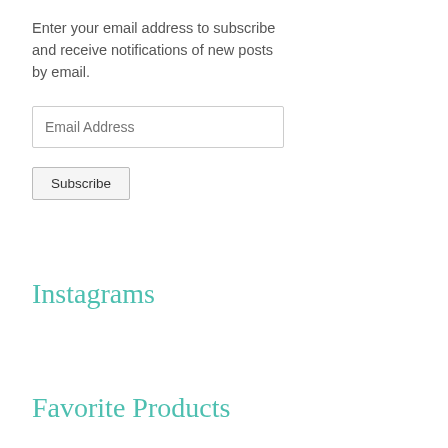Enter your email address to subscribe and receive notifications of new posts by email.
[Figure (other): Email Address input field (text input box with placeholder text 'Email Address')]
[Figure (other): Subscribe button]
Instagrams
Favorite Products